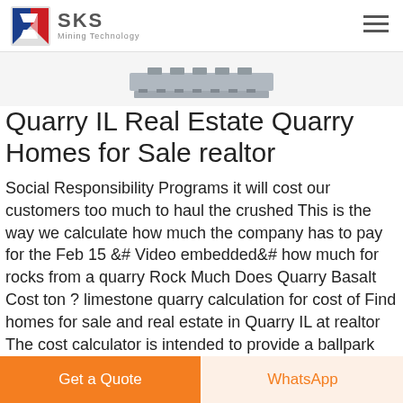SKS Mining Technology
[Figure (photo): Product image of mining/crushing equipment, partially visible at top of page]
Quarry IL Real Estate Quarry Homes for Sale realtor
Social Responsibility Programs it will cost our customers too much to haul the crushed This is the way we calculate how much the company has to pay for the Feb 15 &# Video embedded&# how much for rocks from a quarry Rock Much Does Quarry Basalt Cost ton ? limestone quarry calculation for cost of Find homes for sale and real estate in Quarry IL at realtor The cost calculator is intended to provide a ballpark estimate for information
Get a Quote | WhatsApp